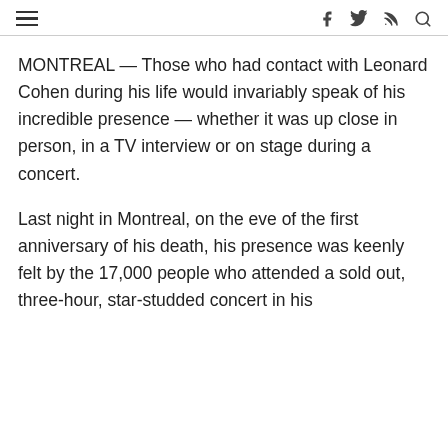≡  f  𝕏  ⌂  🔍
MONTREAL — Those who had contact with Leonard Cohen during his life would invariably speak of his incredible presence — whether it was up close in person, in a TV interview or on stage during a concert.
Last night in Montreal, on the eve of the first anniversary of his death, his presence was keenly felt by the 17,000 people who attended a sold out, three-hour, star-studded concert in his